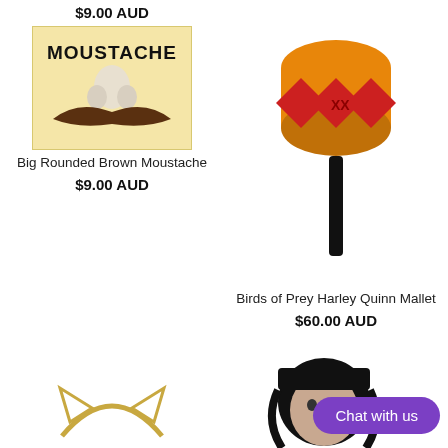$9.00 AUD
[Figure (photo): Big Rounded Brown Moustache novelty item showing a cartoon nose and brown moustache on a light yellow background with MOUSTACHE text]
Big Rounded Brown Moustache
$9.00 AUD
[Figure (photo): Birds of Prey Harley Quinn Mallet — a decorated toy mallet with orange and red diamond pattern head on a black handle]
Birds of Prey Harley Quinn Mallet
$60.00 AUD
[Figure (photo): Gold cat ear headband costume accessory]
[Figure (photo): Woman wearing a black bob wig costume accessory]
Chat with us